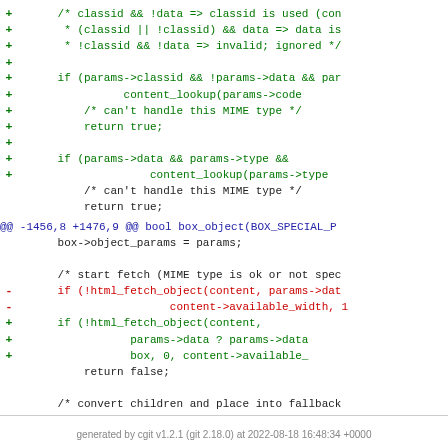Diff code snippet showing changes to box_object function with additions (green) and deletions (red), hunk header in blue, and context lines in black.
generated by cgit v1.2.1 (git 2.18.0) at 2022-08-18 16:48:34 +0000